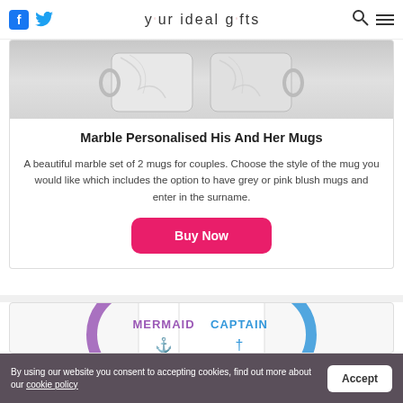your ideal gifts
[Figure (photo): Marble personalised his and her mugs product image - two white marble mugs shown from above]
Marble Personalised His And Her Mugs
A beautiful marble set of 2 mugs for couples. Choose the style of the mug you would like which includes the option to have grey or pink blush mugs and enter in the surname.
Buy Now
[Figure (photo): Two mugs with purple and blue handles, labeled MERMAID and CAPTAIN with anchor and cross icons]
By using our website you consent to accepting cookies, find out more about our cookie policy